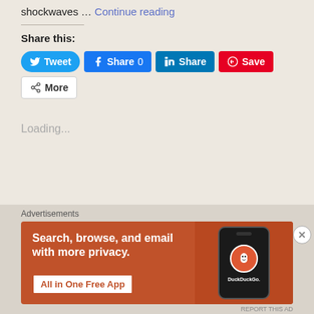shockwaves … Continue reading
Share this:
[Figure (screenshot): Social share buttons: Tweet (Twitter/blue), Share 0 (Facebook/blue), Share (LinkedIn/dark blue), Save (Pinterest/red), More (white/grey outline)]
Loading...
Advertisements
[Figure (infographic): DuckDuckGo advertisement banner: orange background, text 'Search, browse, and email with more privacy. All in One Free App', phone mockup with DuckDuckGo logo]